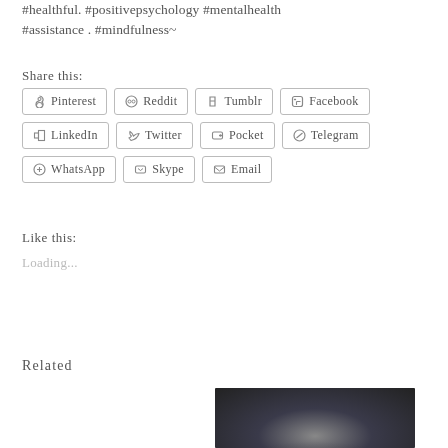#healthful. #positivepsychology #mentalhealth #assistance . #mindfulness~
Share this:
Pinterest | Reddit | Tumblr | Facebook | LinkedIn | Twitter | Pocket | Telegram | WhatsApp | Skype | Email
Like this:
Loading...
Related
[Figure (photo): Dark atmospheric photo, possibly a glowing arc or horizon light against a dark sky]